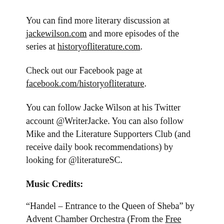You can find more literary discussion at jackewilson.com and more episodes of the series at historyofliterature.com.
Check out our Facebook page at facebook.com/historyofliterature.
You can follow Jacke Wilson at his Twitter account @WriterJacke. You can also follow Mike and the Literature Supporters Club (and receive daily book recommendations) by looking for @literatureSC.
Music Credits:
“Handel – Entrance to the Queen of Sheba” by Advent Chamber Orchestra (From the Free Music Archive / CC by SA).
“Drum Mondaze,” “Here’s Therapy,” and “New Sting”